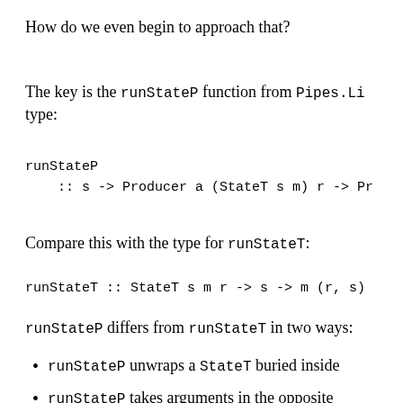How do we even begin to approach that?
The key is the runStateP function from Pipes.Li type:
Compare this with the type for runStateT:
runStateP differs from runStateT in two ways:
runStateP unwraps a StateT buried inside
runStateP takes arguments in the opposite